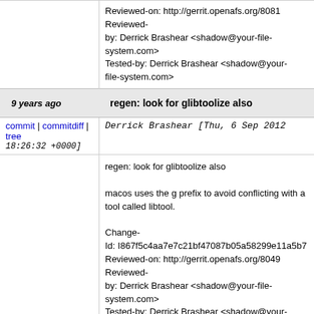Reviewed-on: http://gerrit.openafs.org/8081 Reviewed-by: Derrick Brashear <shadow@your-file-system.com> Tested-by: Derrick Brashear <shadow@your-file-system.com>
9 years ago  regen: look for glibtoolize also
commit | commitdiff | tree  Derrick Brashear [Thu, 6 Sep 2012 18:26:32 +0000]
regen: look for glibtoolize also

macos uses the g prefix to avoid conflicting with a tool called libtool.

Change-Id: I867f5c4aa7e7c21bf47087b05a58299e11a5b7 Reviewed-on: http://gerrit.openafs.org/8049 Reviewed-by: Derrick Brashear <shadow@your-file-system.com> Tested-by: Derrick Brashear <shadow@your-file-system.com>
9 years ago  doc: fix examples of direct volume access
commit | commitdiff | tree  Ken Dreyer [Thu, 6 Sep 2012 18:24:25 +0000]